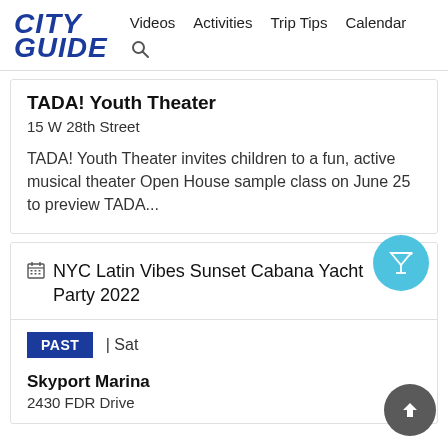CITY GUIDE | Videos  Activities  Trip Tips  Calendar
TADA! Youth Theater
15 W 28th Street
TADA! Youth Theater invites children to a fun, active musical theater Open House sample class on June 25 to preview TADA...
NYC Latin Vibes Sunset Cabana Yacht Party 2022
PAST | Sat
Skyport Marina
2430 FDR Drive